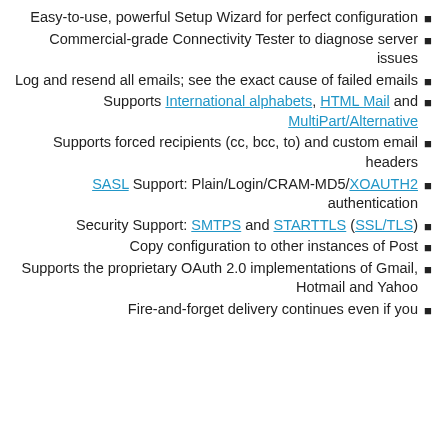Easy-to-use, powerful Setup Wizard for perfect configuration
Commercial-grade Connectivity Tester to diagnose server issues
Log and resend all emails; see the exact cause of failed emails
Supports International alphabets, HTML Mail and MultiPart/Alternative
Supports forced recipients (cc, bcc, to) and custom email headers
SASL Support: Plain/Login/CRAM-MD5/XOAUTH2 authentication
Security Support: SMTPS and STARTTLS (SSL/TLS)
Copy configuration to other instances of Post
Supports the proprietary OAuth 2.0 implementations of Gmail, Hotmail and Yahoo
Fire-and-forget delivery continues even if you